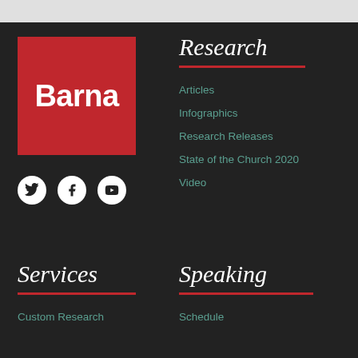[Figure (logo): Barna logo — white bold text on red background]
[Figure (illustration): Social media icons: Twitter, Facebook, YouTube — white icons on white circles]
Research
Articles
Infographics
Research Releases
State of the Church 2020
Video
Services
Custom Research
Speaking
Schedule